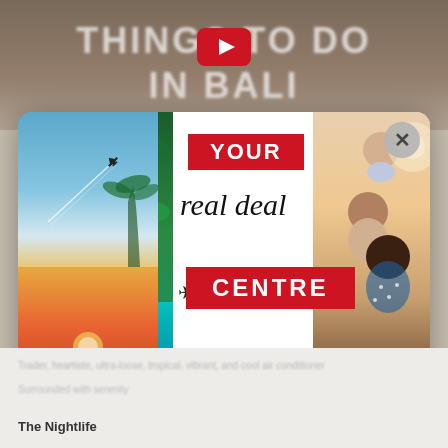[Figure (screenshot): Screenshot of a travel website with a popup modal overlay. Background shows blurred text 'THINGS TO DO IN BALI' with a YouTube play icon. Modal shows a travel deals popup titled 'YOUR real deal CENTRE' with photos of tropical pool, airplane trail in sky, sunset over water, and a happy family. Bottom red banner reads 'SIGN UP FOR OUR HOTTEST DEALS PLUS BE IN TO WIN A $500 TRAVEL GIFT CARD*']
The Nightlife